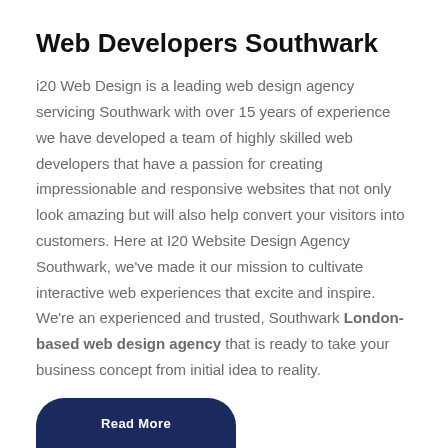Web Developers Southwark
i20 Web Design is a leading web design agency servicing Southwark with over 15 years of experience we have developed a team of highly skilled web developers that have a passion for creating impressionable and responsive websites that not only look amazing but will also help convert your visitors into customers. Here at I20 Website Design Agency Southwark, we've made it our mission to cultivate interactive web experiences that excite and inspire. We're an experienced and trusted, Southwark London-based web design agency that is ready to take your business concept from initial idea to reality.